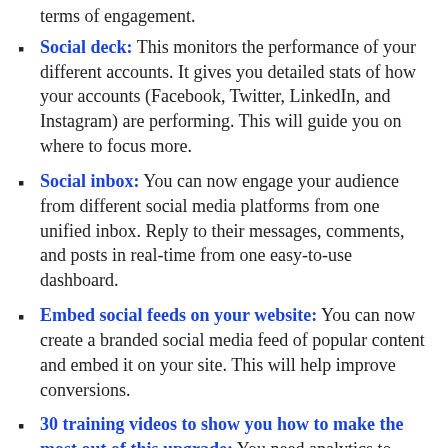Social deck: This monitors the performance of your different accounts. It gives you detailed stats of how your accounts (Facebook, Twitter, LinkedIn, and Instagram) are performing. This will guide you on where to focus more.
Social inbox: You can now engage your audience from different social media platforms from one unified inbox. Reply to their messages, comments, and posts in real-time from one easy-to-use dashboard.
Embed social feeds on your website: You can now create a branded social media feed of popular content and embed it on your site. This will help improve conversions.
30 training videos to show you how to make the most out of this upgrade: You need analytics to know what is working and what doesn't work, and this is the best software for